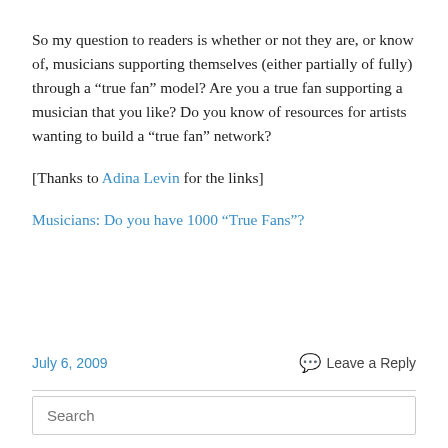So my question to readers is whether or not they are, or know of, musicians supporting themselves (either partially of fully) through a “true fan” model? Are you a true fan supporting a musician that you like? Do you know of resources for artists wanting to build a “true fan” network?
[Thanks to Adina Levin for the links]
Musicians: Do you have 1000 “True Fans”?
July 6, 2009
Leave a Reply